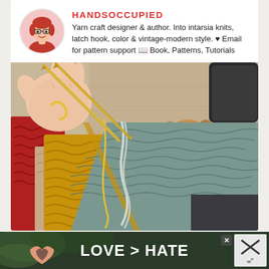HANDSOCCUPIED
Yarn craft designer & author. Into intarsia knits, latch hook, color & vintage-modern style. ♥ Email for pattern support 📖 Book, Patterns, Tutorials
[Figure (photo): Close-up photo of hands knitting with colorful yarn in red, mustard yellow, teal/grey colors using metal needles, with a small fluffy light brown dog lying in the background on a mat with a bone toy]
[Figure (photo): Advertisement banner showing two hands forming a heart shape outdoors, with text 'LOVE > HATE' in white on dark background, with close/X button]